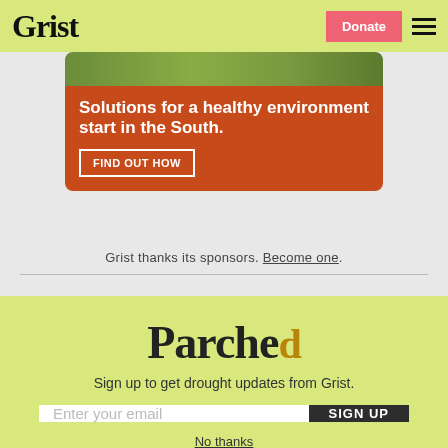Grist | Donate
[Figure (illustration): Orange advertisement banner for environmental solutions in the South with a 'FIND OUT HOW' call-to-action button on a rust/terracotta background with a green image strip at top]
Grist thanks its sponsors. Become one.
[Figure (infographic): Newsletter signup modal with yellow-green background, featuring 'Parched' logo, subtitle 'Sign up to get drought updates from Grist.', email input field, SIGN UP button, and 'No thanks' link]